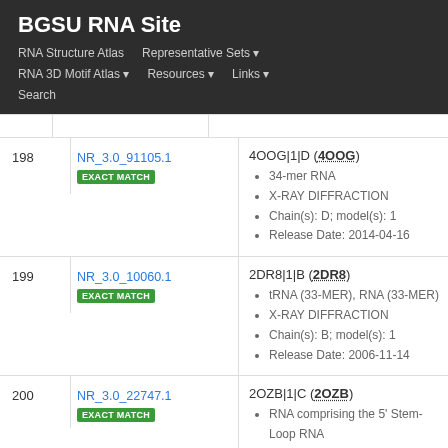BGSU RNA Site
RNA Structure Atlas | Representative Sets ▾ | RNA 3D Motif Atlas ▾ | Resources ▾ | Links ▾ | Search
| # | ID | Details |
| --- | --- | --- |
| 198 | NR_3.0_91105.1 EXACT MATCH | 4OOG|1|D (4OOG) • 34-mer RNA • X-RAY DIFFRACTION • Chain(s): D; model(s): 1 • Release Date: 2014-04-16 |
| 199 | NR_3.0_10060.1 EXACT MATCH | 2DR8|1|B (2DR8) • tRNA (33-MER), RNA (33-MER) • X-RAY DIFFRACTION • Chain(s): B; model(s): 1 • Release Date: 2006-11-14 |
| 200 | NR_3.0_22747.1 EXACT MATCH | 2OZB|1|C (2OZB) • RNA comprising the 5' Stem-Loop RNA... |